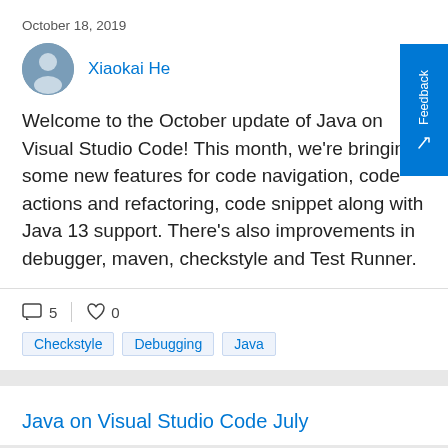October 18, 2019
Xiaokai He
Welcome to the October update of Java on Visual Studio Code! This month, we're bringing some new features for code navigation, code actions and refactoring, code snippet along with Java 13 support. There's also improvements in debugger, maven, checkstyle and Test Runner.
5  0
Checkstyle  Debugging  Java
Java on Visual Studio Code July